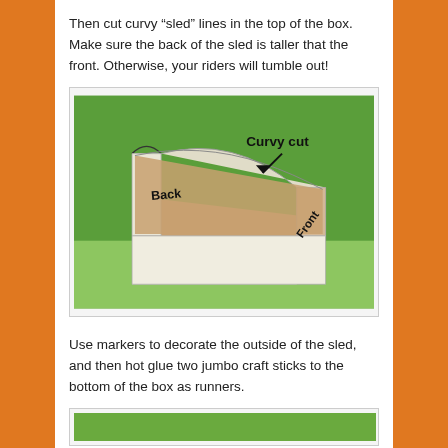Then cut curvy “sled” lines in the top of the box. Make sure the back of the sled is taller that the front. Otherwise, your riders will tumble out!
[Figure (photo): A paper box shaped like a sled on a green background. The box has curvy cuts on the top sides. Labels on the image read 'Back' on the left tall side, 'Front' on the lower right side, and 'Curvy cut' with an arrow pointing to the curved cut.]
Use markers to decorate the outside of the sled, and then hot glue two jumbo craft sticks to the bottom of the box as runners.